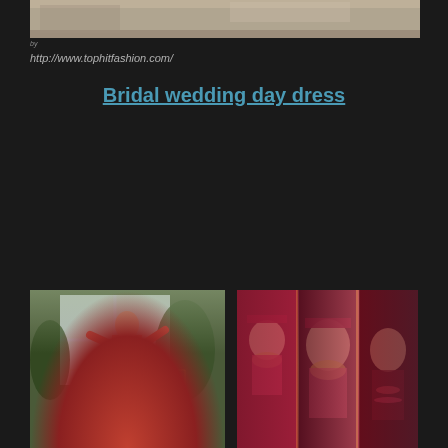[Figure (photo): Top cropped image showing a floor/ground surface, partial view]
by
http://www.tophitfashion.com/
Bridal wedding day dress
[Figure (photo): Woman wearing a red and gold embroidered bridal lehenga/gown standing in front of a window with plants in background]
[Figure (photo): Collage of three bridal photos showing women in maroon/red and gold bridal outfits and jewelry]